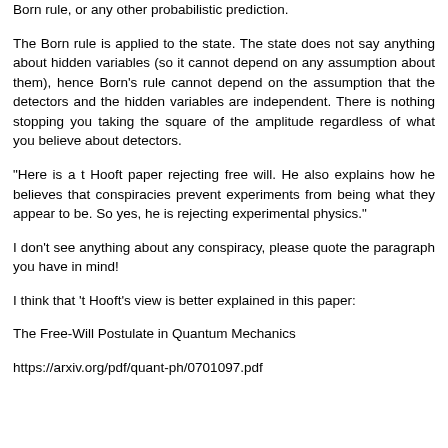Born rule, or any other probabilistic prediction.
The Born rule is applied to the state. The state does not say anything about hidden variables (so it cannot depend on any assumption about them), hence Born's rule cannot depend on the assumption that the detectors and the hidden variables are independent. There is nothing stopping you taking the square of the amplitude regardless of what you believe about detectors.
"Here is a t Hooft paper rejecting free will. He also explains how he believes that conspiracies prevent experiments from being what they appear to be. So yes, he is rejecting experimental physics."
I don't see anything about any conspiracy, please quote the paragraph you have in mind!
I think that 't Hooft's view is better explained in this paper:
The Free-Will Postulate in Quantum Mechanics
https://arxiv.org/pdf/quant-ph/0701097.pdf